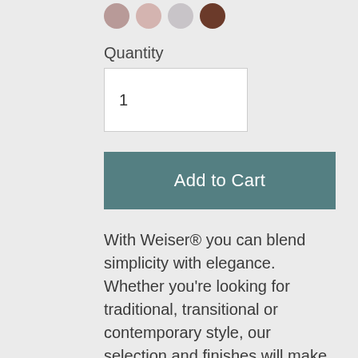[Figure (other): Four color swatch circles: muted rose/pink, light pink, pale grey/lavender, dark brown]
Quantity
1
Add to Cart
With Weiser® you can blend simplicity with elegance. Whether you're looking for traditional, transitional or contemporary style, our selection and finishes will make it easy to find the right accent for your home. This single cylinder deadbolt can be locked or unlocked by using the keypad or key from the outside as well as the turn button from the inside.